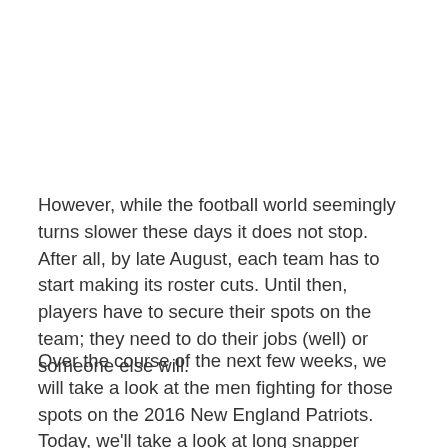However, while the football world seemingly turns slower these days it does not stop. After all, by late August, each team has to start making its roster cuts. Until then, players have to secure their spots on the team; they need to do their jobs (well) or someone else will.
Over the course of the next few weeks, we will take a look at the men fighting for those spots on the 2016 New England Patriots. Today, we'll take a look at long snapper Christian Yount.